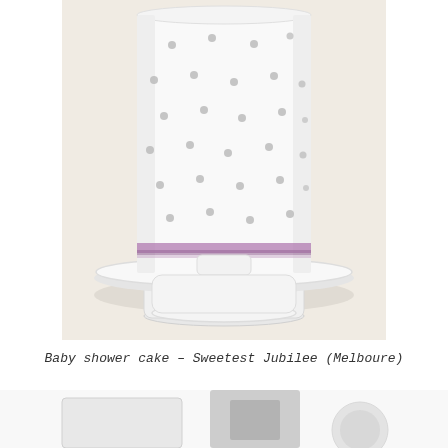[Figure (photo): A tall white fondant baby shower cake decorated with evenly spaced silver/grey polka dots, sitting on a white ceramic pedestal cake stand. A thin purple/lavender ribbon wraps around the base of the cake. The background is a light cream/beige color.]
Baby shower cake – Sweetest Jubilee (Melboure)
[Figure (photo): Partial view of another cake or decoration at the bottom of the page, partially cut off.]